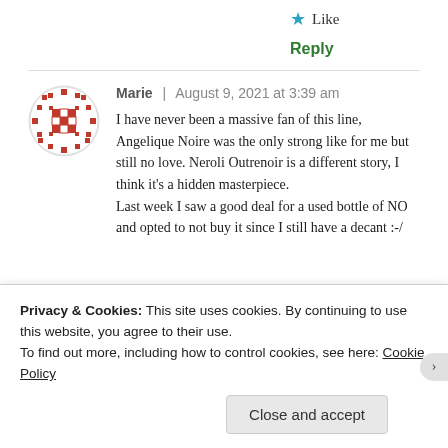★ Like
Reply
[Figure (illustration): Circular avatar icon with red pixel/cross-stitch style pattern on white background]
Marie | August 9, 2021 at 3:39 am
I have never been a massive fan of this line, Angelique Noire was the only strong like for me but still no love. Neroli Outrenoir is a different story, I think it's a hidden masterpiece.
Last week I saw a good deal for a used bottle of NO and opted to not buy it since I still have a decant :-/
Privacy & Cookies: This site uses cookies. By continuing to use this website, you agree to their use.
To find out more, including how to control cookies, see here: Cookie Policy
Close and accept